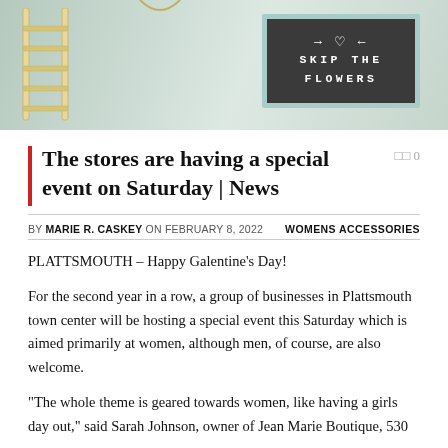[Figure (photo): Photo showing a store display with a dark letterboard sign reading 'SKIP THE FLOWERS' with arrows and a heart, set against a light teal/mint background with what appears to be a ladder or shelving unit on the left side.]
The stores are having a special event on Saturday | News
BY MARIE R. CASKEY ON FEBRUARY 8, 2022   WOMENS ACCESSORIES
PLATTSMOUTH – Happy Galentine's Day!
For the second year in a row, a group of businesses in Plattsmouth town center will be hosting a special event this Saturday which is aimed primarily at women, although men, of course, are also welcome.
“The whole theme is geared towards women, like having a girls day out,” said Sarah Johnson, owner of Jean Marie Boutique, 530